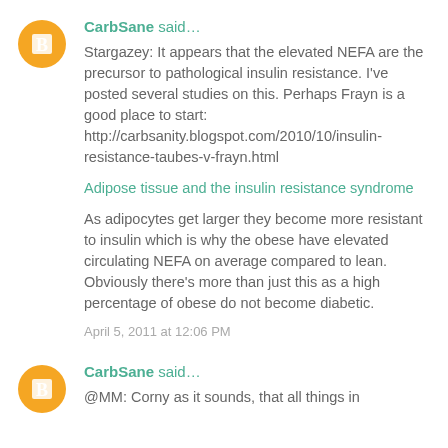CarbSane said…
Stargazey: It appears that the elevated NEFA are the precursor to pathological insulin resistance. I've posted several studies on this. Perhaps Frayn is a good place to start: http://carbsanity.blogspot.com/2010/10/insulin-resistance-taubes-v-frayn.html
Adipose tissue and the insulin resistance syndrome
As adipocytes get larger they become more resistant to insulin which is why the obese have elevated circulating NEFA on average compared to lean. Obviously there's more than just this as a high percentage of obese do not become diabetic.
April 5, 2011 at 12:06 PM
CarbSane said…
@MM: Corny as it sounds, that all things in